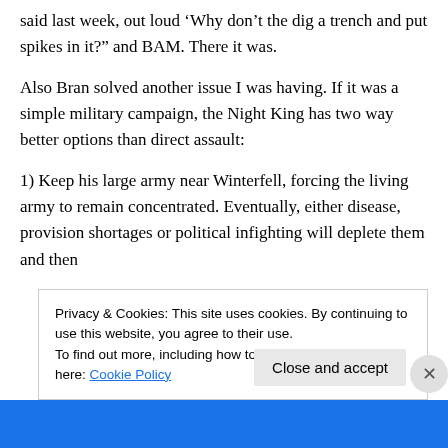said last week, out loud ‘Why don’t the dig a trench and put spikes in it?” and BAM. There it was.
Also Bran solved another issue I was having. If it was a simple military campaign, the Night King has two way better options than direct assault:
1) Keep his large army near Winterfell, forcing the living army to remain concentrated. Eventually, either disease, provision shortages or political infighting will deplete them and then
Privacy & Cookies: This site uses cookies. By continuing to use this website, you agree to their use.
To find out more, including how to control cookies, see here: Cookie Policy
Close and accept